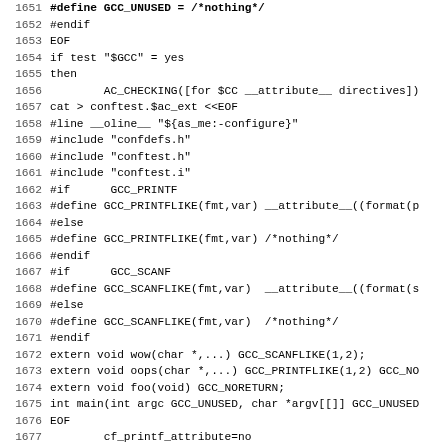Code listing lines 1651-1683, shell/C configuration script
1652 #endif
1653 EOF
1654 if test "$GCC" = yes
1655 then
1656         AC_CHECKING([for $CC __attribute__ directives])
1657 cat > conftest.$ac_ext <<EOF
1658 #line __oline__ "${as_me:-configure}"
1659 #include "confdefs.h"
1660 #include "conftest.h"
1661 #include "conftest.i"
1662 #if      GCC_PRINTF
1663 #define GCC_PRINTFLIKE(fmt,var) __attribute__((format(p
1664 #else
1665 #define GCC_PRINTFLIKE(fmt,var) /*nothing*/
1666 #endif
1667 #if      GCC_SCANF
1668 #define GCC_SCANFLIKE(fmt,var)  __attribute__((format(s
1669 #else
1670 #define GCC_SCANFLIKE(fmt,var)  /*nothing*/
1671 #endif
1672 extern void wow(char *,...) GCC_SCANFLIKE(1,2);
1673 extern void oops(char *,...) GCC_PRINTFLIKE(1,2) GCC_NO
1674 extern void foo(void) GCC_NORETURN;
1675 int main(int argc GCC_UNUSED, char *argv[[]] GCC_UNUSED
1676 EOF
1677         cf_printf_attribute=no
1678         cf_scanf_attribute=no
1679         for cf_attribute in scanf printf unused noretur
1680         do
1681                 CF_UPPER(cf_ATTRIBUTE,$cf_attribute)
1682                 cf_directive="__attribute__(($cf_attrib
1683                 echo "checking for $CC $cf_directive"